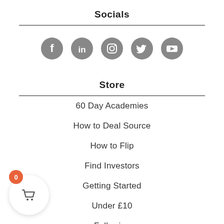Socials
[Figure (illustration): Row of 5 social media icons (Facebook, LinkedIn, Instagram, Twitter, YouTube) as grey circles]
Store
60 Day Academies
How to Deal Source
How to Flip
Find Investors
Getting Started
Under £10
Full-price